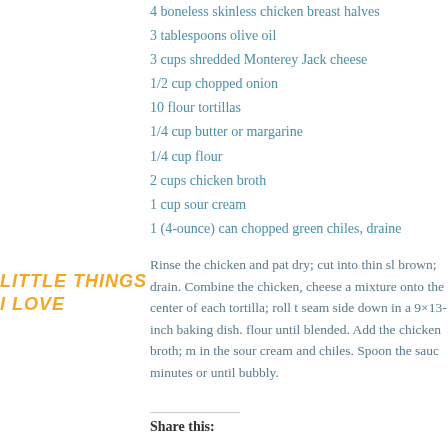4 boneless skinless chicken breast halves
3 tablespoons olive oil
3 cups shredded Monterey Jack cheese
1/2 cup chopped onion
10 flour tortillas
1/4 cup butter or margarine
1/4 cup flour
2 cups chicken broth
1 cup sour cream
1 (4-ounce) can chopped green chiles, drained
LITTLE THINGS I LOVE
Rinse the chicken and pat dry; cut into thin slices; brown; drain. Combine the chicken, cheese and onion mixture onto the center of each tortilla; roll tightly; seam side down in a 9×13-inch baking dish. Blend flour until blended. Add the chicken broth; mix in the sour cream and chiles. Spoon the sauce over; minutes or until bubbly.
Share this: